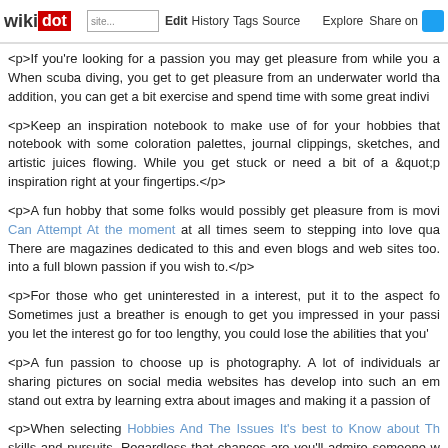wikidot | site Edit History Tags Source Explore Share on [Twitter]
<p>If you're looking for a passion you may get pleasure from while you a When scuba diving, you get to get pleasure from an underwater world tha addition, you can get a bit exercise and spend time with some great indivi
<p>Keep an inspiration notebook to make use of for your hobbies that notebook with some coloration palettes, journal clippings, sketches, and artistic juices flowing. While you get stuck or need a bit of a &quot;p inspiration right at your fingertips.</p>
<p>A fun hobby that some folks would possibly get pleasure from is movi Can Attempt At the moment at all times seem to stepping into love qua There are magazines dedicated to this and even blogs and web sites too. into a full blown passion if you wish to.</p>
<p>For those who get uninterested in a interest, put it to the aspect fo Sometimes just a breather is enough to get you impressed in your passi you let the interest go for too lengthy, you could lose the abilities that you'
<p>A fun passion to choose up is photography. A lot of individuals ar sharing pictures on social media websites has develop into such an em stand out extra by learning extra about images and making it a passion of
<p>When selecting Hobbies And The Issues It's best to Know about Th skills and pursuits. Regardless that chances are you'll admire someone w of pottery, is your personality really suited to these things? Both requ element, which can or is probably not your own robust factors.</p>
<p>Select a passion that fits your natural abilities. For these with a gradu the right pastime for you. In Once you Need Useful Hints About Ho